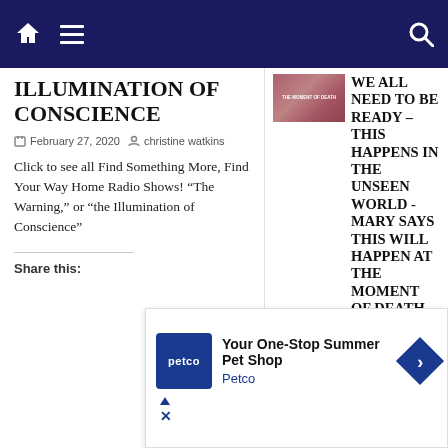Navigation bar with home icon, menu icon, and search icon
ILLUMINATION OF CONSCIENCE
February 27, 2020  christine watkins
Click to see all Find Something More, Find Your Way Home Radio Shows! “The Warning,” or “the Illumination of Conscience”
Share this:
WE ALL NEED TO BE READY – THIS HAPPENS IN THE UNSEEN WORLD - MARY SAYS THIS WILL HAPPEN AT THE MOMENT OF DEATH
March 3, 2022
[Figure (photo): Thumbnail image with text overlay about the moment of death]
Many ask us:
[Figure (photo): Purple-toned image with angel figure]
[Figure (other): Petco advertisement: Your One-Stop Summer Pet Shop. Petco logo shown.]